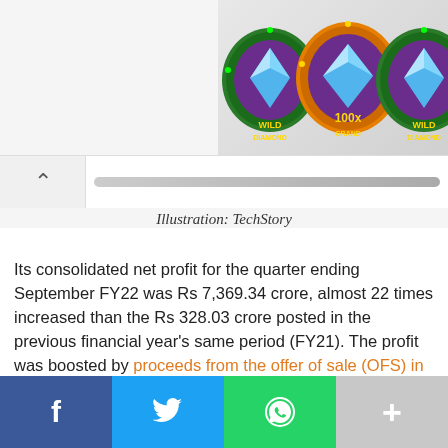[Figure (illustration): Three casino-style chip medallions with diamond graphics and '100x' text, on green/orange/purple backgrounds, partially cropped at right edge of page]
Illustration: TechStory
Its consolidated net profit for the quarter ending September FY22 was Rs 7,369.34 crore, almost 22 times increased than the Rs 328.03 crore posted in the previous financial year's same period (FY21). The profit was boosted by proceeds from the offer of sale (OFS) in Zomato's initial public offering (IPO) and unrealized profits from the company's spectacular listing.